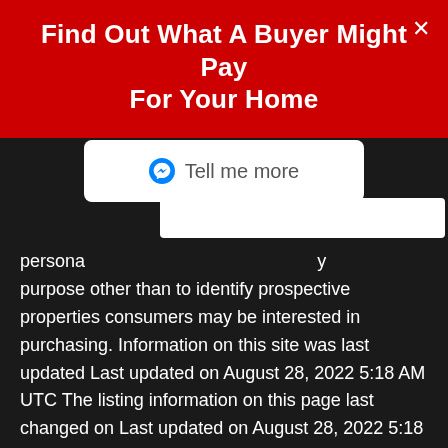Find Out What A Buyer Might Pay For Your Home
[Figure (other): Messenger 'Tell me more' button]
persona[...] purpose other than to identify prospective properties consumers may be interested in purchasing. Information on this site was last updated Last updated on August 28, 2022 5:18 AM UTC The listing information on this page last changed on Last updated on August 28, 2022 5:18 AM UTCd. The data relating to real estate for sale on this website comes in part from the Internet Data Exchange program of MFR MLS. All information deemed reliable but not guaranteed. All properties are subject to prior sale, change or withdrawal. Neither listing broker(s) or information provider(s) shall be responsible for any typographical errors, misinformation, misprints and shall be held totally harmless. Listing(s) information